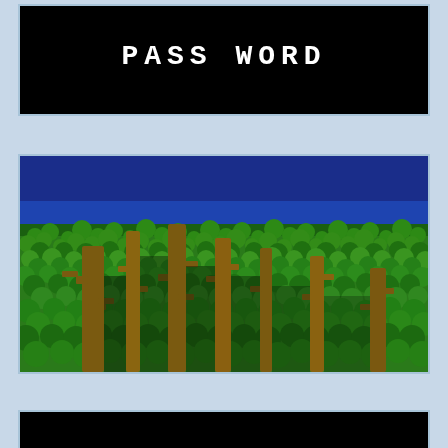[Figure (screenshot): Video game screenshot showing black background with white pixel text reading 'PASS WORD']
[Figure (screenshot): Video game screenshot showing a side-scrolling scene with blue sky at top and dense green jungle foliage with brown tree trunks/cacti in the foreground]
[Figure (screenshot): Video game screenshot showing a mostly black/dark screen]